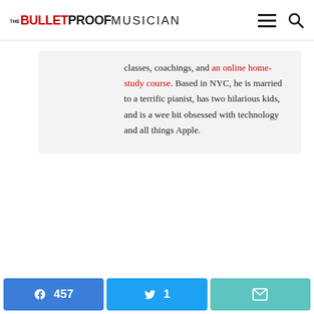The Bulletproof Musician
classes, coachings, and an online home-study course. Based in NYC, he is married to a terrific pianist, has two hilarious kids, and is a wee bit obsessed with technology and all things Apple.
Facebook 457
Twitter 1
Email